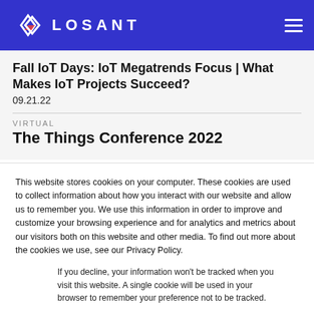[Figure (logo): Losant logo with diamond-shaped icon and white text LOSANT on blue background header bar]
Fall IoT Days: IoT Megatrends Focus | What Makes IoT Projects Succeed?
09.21.22
VIRTUAL
The Things Conference 2022
This website stores cookies on your computer. These cookies are used to collect information about how you interact with our website and allow us to remember you. We use this information in order to improve and customize your browsing experience and for analytics and metrics about our visitors both on this website and other media. To find out more about the cookies we use, see our Privacy Policy.
If you decline, your information won't be tracked when you visit this website. A single cookie will be used in your browser to remember your preference not to be tracked.
Accept
Decline